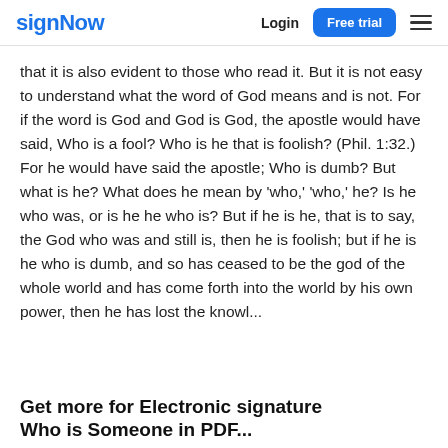signNow   Login   Free trial
that it is also evident to those who read it. But it is not easy to understand what the word of God means and is not. For if the word is God and God is God, the apostle would have said, Who is a fool? Who is he that is foolish? (Phil. 1:32.) For he would have said the apostle; Who is dumb? But what is he? What does he mean by 'who,' 'who,' he? Is he who was, or is he he who is? But if he is he, that is to say, the God who was and still is, then he is foolish; but if he is he who is dumb, and so has ceased to be the god of the whole world and has come forth into the world by his own power, then he has lost the knowl...
Get more for Electronic signature Who is Someone in PDF...